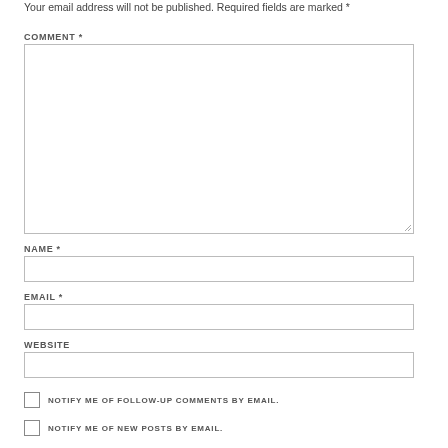Your email address will not be published. Required fields are marked *
COMMENT *
NAME *
EMAIL *
WEBSITE
NOTIFY ME OF FOLLOW-UP COMMENTS BY EMAIL.
NOTIFY ME OF NEW POSTS BY EMAIL.